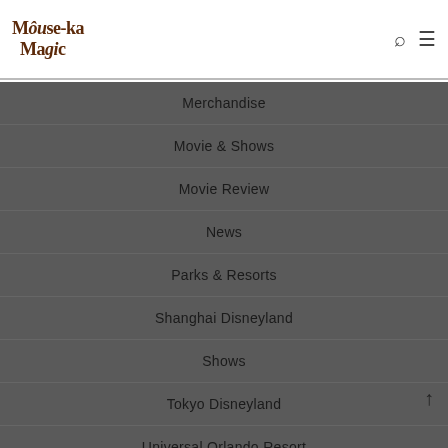Mouse-ka Magic
Merchandise
Movie & Shows
Movie Review
News
Parks & Resorts
Shanghai Disneyland
Shows
Tokyo Disneyland
Universal Orlando Resort